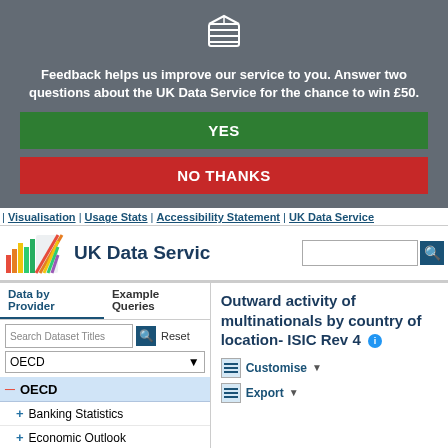[Figure (screenshot): UK Data Service feedback banner with logo icon, text, YES button, and NO THANKS button over grey background]
Feedback helps us improve our service to you. Answer two questions about the UK Data Service for the chance to win £50.
YES
NO THANKS
| Visualisation | Usage Stats | Accessibility Statement | UK Data Service
[Figure (logo): UK Data Service logo with coloured bar chart graphic and bold text]
Data by Provider
Example Queries
Search Dataset Titles   Reset
OECD
OECD
Banking Statistics
Economic Outlook
Education and Training
Employment and Labour Market
Outward activity of multinationals by country of location- ISIC Rev 4
Customise
Export